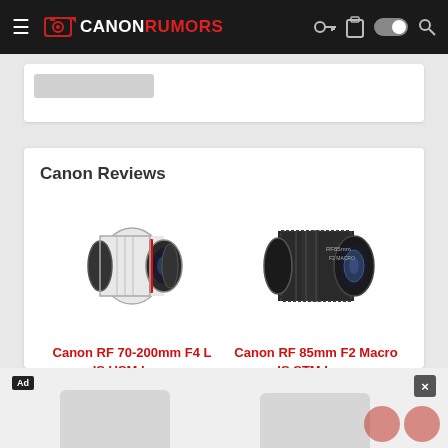Canon Rumors navigation bar with logo, hamburger menu, key icon, clipboard icon, toggle, and search icon
Canon Reviews
[Figure (photo): Canon RF 70-200mm F4 L IS USM Lens product photo - white telephoto zoom lens]
Canon RF 70-200mm F4 L IS USM Lens
BUY   RENT
[Figure (photo): Canon RF 85mm F2 Macro IS STM Lens product photo - black compact lens]
Canon RF 85mm F2 Macro IS STM Lens
BUY   RENT
Ad × (advertisement bar with camera images)